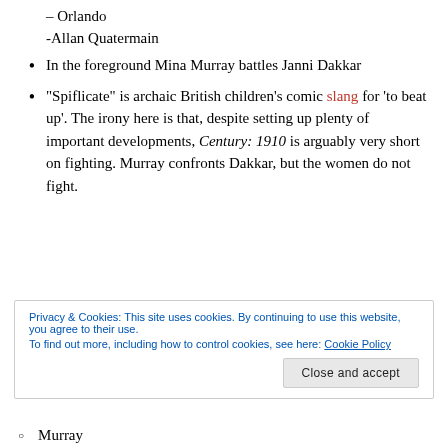– Orlando
-Allan Quatermain
In the foreground Mina Murray battles Janni Dakkar
“Spiflicate” is archaic British children’s comic slang for ‘to beat up’. The irony here is that, despite setting up plenty of important developments, Century: 1910 is arguably very short on fighting. Murray confronts Dakkar, but the women do not fight.
Privacy & Cookies: This site uses cookies. By continuing to use this website, you agree to their use.
To find out more, including how to control cookies, see here: Cookie Policy
Murray